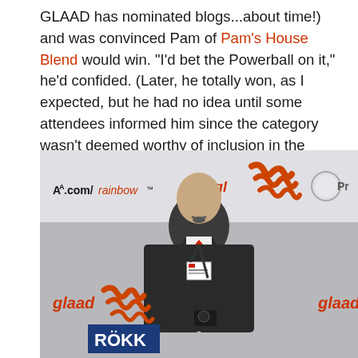GLAAD has nominated blogs...about time!) and was convinced Pam of Pam's House Blend would win. "I'd bet the Powerball on it," he'd confided. (Later, he totally won, as I expected, but he had no idea until some attendees informed him since the category wasn't deemed worthy of inclusion in the actual program.)
[Figure (photo): Man in black suit with red tie and media badge standing in front of GLAAD event backdrop showing logos including AA.com/rainbow, glaad, and ROKK signage]